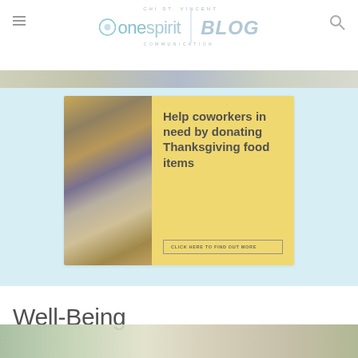CHI ST. VINCENT one spirit COMMUNICATION BLOG
[Figure (infographic): Yellow/cream card with food imagery on left and text: Help coworkers in need by donating Thanksgiving food items, with a CLICK HERE TO FIND OUT MORE button]
Well-Being
[Figure (photo): Photo of food items, partially visible at bottom of page]